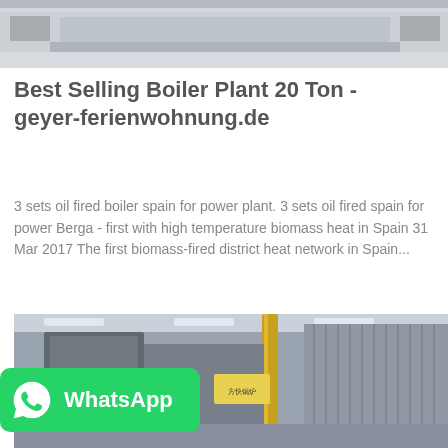[Figure (photo): Industrial factory interior with machinery and flat surfaces, partial view cropped at top]
Best Selling Boiler Plant 20 Ton - geyer-ferienwohnung.de
3 sets oil fired boiler spain for power plant. 3 sets oil fired spain for power Berga - first with high temperature biomass heat in Spain 31 Mar 2017 The first biomass-fired district heat network in Spain...
[Figure (photo): Large industrial boiler plant equipment in a factory hall, with metal structures, stairs, yellow pipe, and corrugated metal walls. WhatsApp badge overlay in bottom-left.]